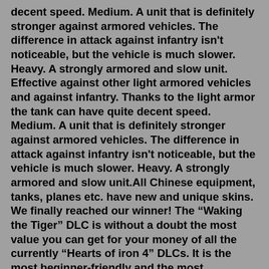decent speed. Medium. A unit that is definitely stronger against armored vehicles. The difference in attack against infantry isn't noticeable, but the vehicle is much slower. Heavy. A strongly armored and slow unit. Effective against other light armored vehicles and against infantry. Thanks to the light armor the tank can have quite decent speed. Medium. A unit that is definitely stronger against armored vehicles. The difference in attack against infantry isn't noticeable, but the vehicle is much slower. Heavy. A strongly armored and slow unit.All Chinese equipment, tanks, planes etc. have new and unique skins. We finally reached our winner! The “Waking the Tiger” DLC is without a doubt the most value you can get for your money of all the currently “Hearts of iron 4” DLCs. It is the most beginner-friendly and the most entertaining nevertheless. What is Hoi4 Landsturm Regiment Event. Likes: 613. Shares: 307.About Template Car Hoi4 Armored. English is used when calling us. hoi4 tutorial time, this tutorial shows how to get the hb1 template fin...